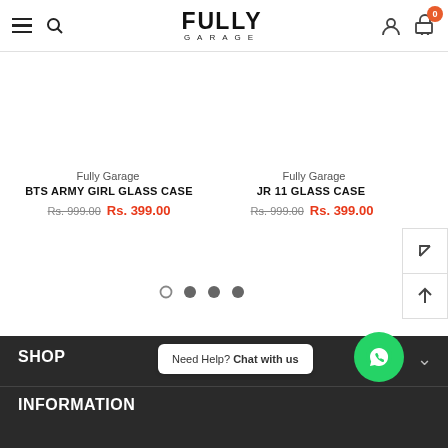FULLY GARAGE — navigation header with hamburger, search, logo, user and cart icons
Fully Garage
BTS ARMY GIRL GLASS CASE
Rs. 999.00  Rs. 399.00
Fully Garage
JR 11 GLASS CASE
Rs. 999.00  Rs. 399.00
SHOP
Need Help? Chat with us
INFORMATION